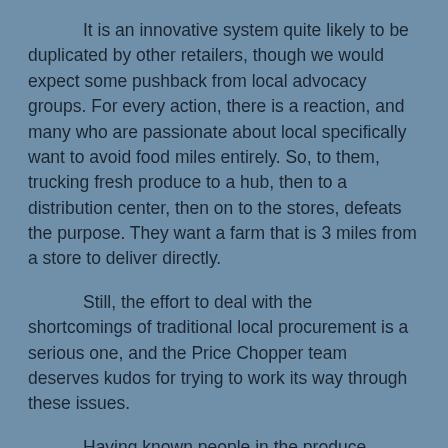It is an innovative system quite likely to be duplicated by other retailers, though we would expect some pushback from local advocacy groups. For every action, there is a reaction, and many who are passionate about local specifically want to avoid food miles entirely. So, to them, trucking fresh produce to a hub, then to a distribution center, then on to the stores, defeats the purpose. They want a farm that is 3 miles from a store to deliver directly.
Still, the effort to deal with the shortcomings of traditional local procurement is a serious one, and the Price Chopper team deserves kudos for trying to work its way through these issues.
Having known people in the produce industry my entire life, there is simply no question that the issues around food safety are taken more seriously than ever before on the production side. Yet on the buy side (e.g. supermarkets and restaurants), it is fair to say that the commitment to food